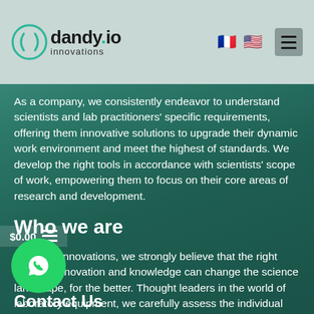dandy innovations — logo header with flags and hamburger menu
As a company, we consistently endeavor to understand scientists and lab practitioners' specific requirements, offering them innovative solutions to upgrade their dynamic work environment and meet the highest of standards. We develop the right tools in accordance with scientists' scope of work, empowering them to focus on their core areas of research and development.
Who we are
At dandy Innovations, we strongly believe that the right blend of innovation and knowledge can change the science landscape, for the better. Thought leaders in the world of laboratory equipment, we carefully assess the individual needs of each of our clients and offer them innovative solutions to their work to the next level.
Contact Us